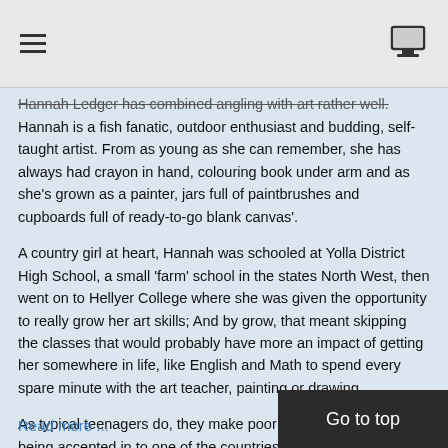Hannah Ledger has combined angling with art rather well. Hannah is a fish fanatic, outdoor enthusiast and budding, self-taught artist. From as young as she can remember, she has always had crayon in hand, colouring book under arm and as she's grown as a painter, jars full of paintbrushes and cupboards full of ready-to-go blank canvas'.
A country girl at heart, Hannah was schooled at Yolla District High School, a small 'farm' school in the states North West, then went on to Hellyer College where she was given the opportunity to really grow her art skills; And by grow, that meant skipping the classes that would probably have more an impact of getting her somewhere in life, like English and Math to spend every spare minute with the art teacher, painting or drawing.
As typical teenagers do, they make poor decisions- and after being accepted in to one of the countries top art schools, turned down the offer and decided to move to the big island, where she lived for 5 years working in what seemed 'dead end' retail.
Read more ...